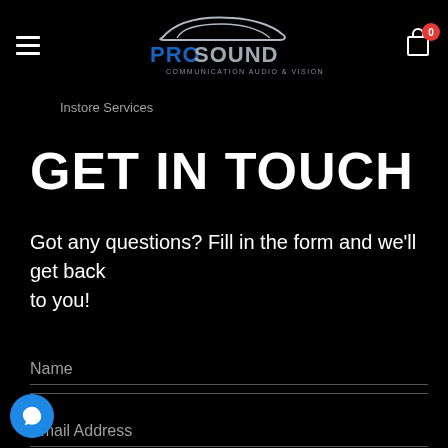[Figure (logo): ProSound Communication Audio & Vision logo with car silhouette above stylized text]
Instore Services
GET IN TOUCH
Got any questions? Fill in the form and we'll get back
to you!
Name
Email Address